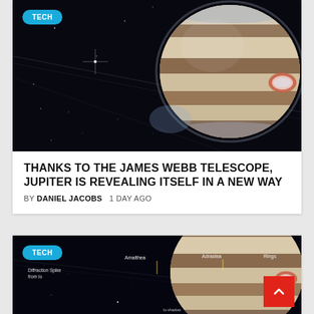[Figure (photo): James Webb Space Telescope image of Jupiter against black space background, showing planet's bands, Great Red Spot area, and auroras. TECH badge overlay in top left.]
THANKS TO THE JAMES WEBB TELESCOPE, JUPITER IS REVEALING ITSELF IN A NEW WAY
BY DANIEL JACOBS   1 DAY AGO
[Figure (photo): Annotated James Webb Space Telescope image of Jupiter showing labels: Amalthea, Adrastea, Rings, Diffraction Spike from Io. TECH badge overlay top left. Red scroll-to-top button bottom right.]